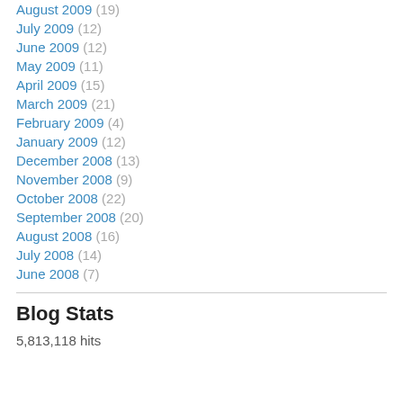August 2009 (19)
July 2009 (12)
June 2009 (12)
May 2009 (11)
April 2009 (15)
March 2009 (21)
February 2009 (4)
January 2009 (12)
December 2008 (13)
November 2008 (9)
October 2008 (22)
September 2008 (20)
August 2008 (16)
July 2008 (14)
June 2008 (7)
Blog Stats
5,813,118 hits